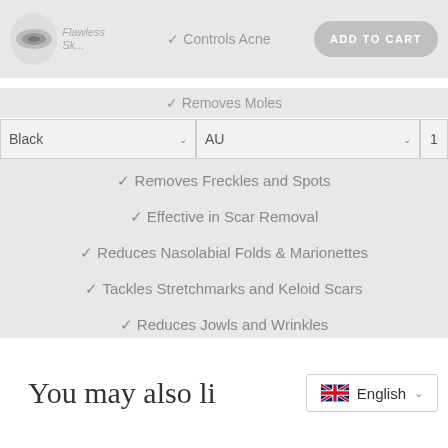Flawless Sk... ✓ Controls Acne ADD TO CART
✓ Removes Moles
✓ Removes Freckles and Spots
✓ Effective in Scar Removal
✓ Reduces Nasolabial Folds & Marionettes
✓ Tackles Stretchmarks and Keloid Scars
✓ Reduces Jowls and Wrinkles
✓ Minimizes Blemishes and Age Spots
You may also li